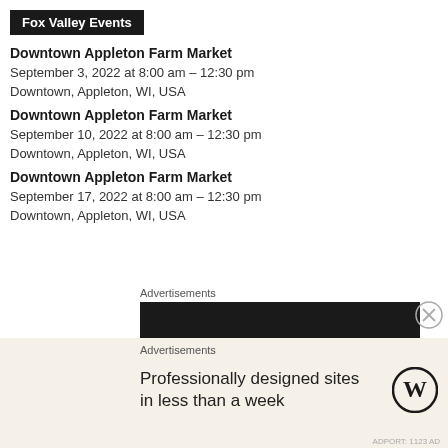Fox Valley Events
Downtown Appleton Farm Market
September 3, 2022 at 8:00 am – 12:30 pm
Downtown, Appleton, WI, USA
Downtown Appleton Farm Market
September 10, 2022 at 8:00 am – 12:30 pm
Downtown, Appleton, WI, USA
Downtown Appleton Farm Market
September 17, 2022 at 8:00 am – 12:30 pm
Downtown, Appleton, WI, USA
Advertisements
[Figure (other): Dark advertisement banner bar]
Advertisements
[Figure (other): WordPress advertisement: Professionally designed sites in less than a week]